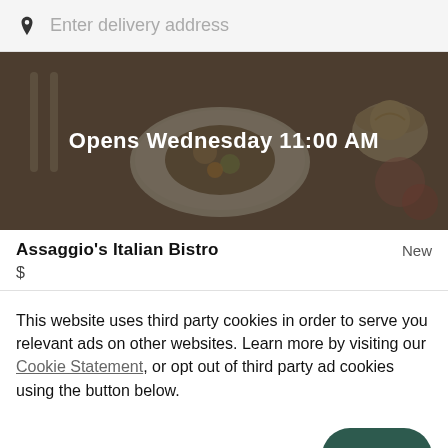Enter delivery address
[Figure (photo): Food delivery app hero image showing restaurant dishes on a table with overlay text 'Opens Wednesday 11:00 AM']
Assaggio's Italian Bistro
New
$
This website uses third party cookies in order to serve you relevant ads on other websites. Learn more by visiting our Cookie Statement, or opt out of third party ad cookies using the button below.
OPT OUT
GOT IT